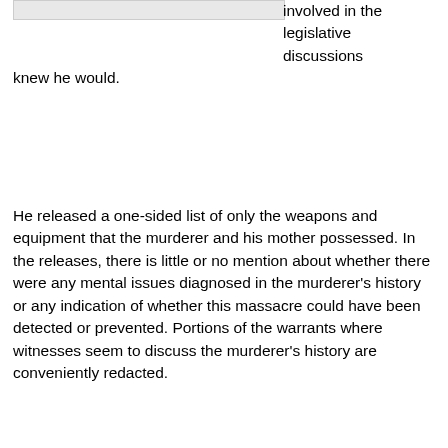[Figure (other): Gray image/figure placeholder at top of page]
involved in the legislative discussions knew he would.
He released a one-sided list of only the weapons and equipment that the murderer and his mother possessed. In the releases, there is little or no mention about whether there were any mental issues diagnosed in the murderer’s history or any indication of whether this massacre could have been detected or prevented. Portions of the warrants where witnesses seem to discuss the murderer’s history are conveniently redacted.